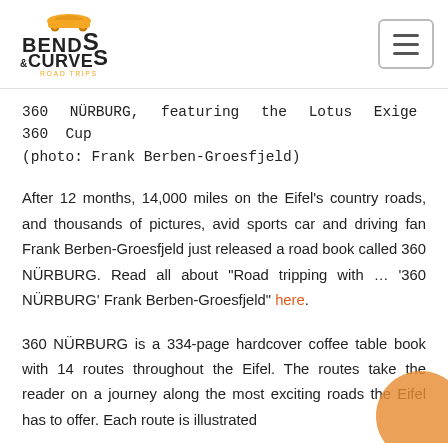Bends & Curves Road Trips — logo and navigation menu
360 NÜRBURG, featuring the Lotus Exige 360 Cup (photo: Frank Berben-Groesfjeld)
After 12 months, 14,000 miles on the Eifel's country roads, and thousands of pictures, avid sports car and driving fan Frank Berben-Groesfjeld just released a road book called 360 NÜRBURG. Read all about "Road tripping with ... '360 NÜRBURG' Frank Berben-Groesfjeld" here.
360 NÜRBURG is a 334-page hardcover coffee table book with 14 routes throughout the Eifel. The routes take the reader on a journey along the most exciting roads the Eifel has to offer. Each route is illustrated